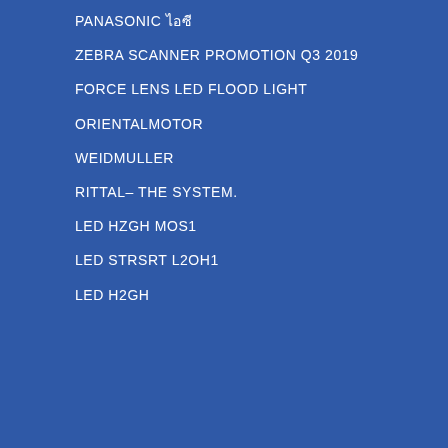PANASONIC ไอซี
ZEBRA SCANNER PROMOTION Q3 2019
FORCE LENS LED FLOOD LIGHT
ORIENTALMOTOR
WEIDMULLER
RITTAL– THE SYSTEM.
LED HZGH MOS1
LED STRSRT L2OH1
LED H2GH